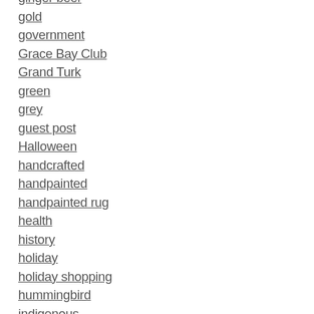ginger beer
gold
government
Grace Bay Club
Grand Turk
green
grey
guest post
Halloween
handcrafted
handpainted
handpainted rug
health
history
holiday
holiday shopping
hummingbird
indigenous
inspiration